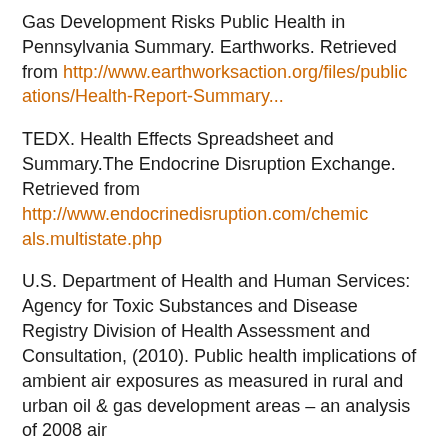Gas Development Risks Public Health in Pennsylvania Summary. Earthworks. Retrieved from http://www.earthworksaction.org/files/publications/Health-Report-Summary...
TEDX. Health Effects Spreadsheet and Summary.The Endocrine Disruption Exchange. Retrieved from http://www.endocrinedisruption.com/chemicals.multistate.php
U.S. Department of Health and Human Services: Agency for Toxic Substances and Disease Registry Division of Health Assessment and Consultation, (2010). Public health implications of ambient air exposures as measured in rural and urban oil & gas development areas – an analysis of 2008 air